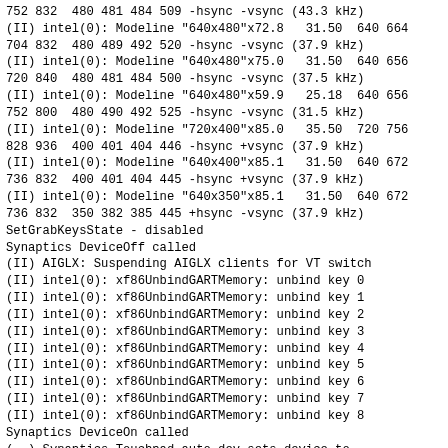752 832  480 481 484 509 -hsync -vsync (43.3 kHz)
(II) intel(0): Modeline "640x480"x72.8   31.50  640 664 704 832  480 489 492 520 -hsync -vsync (37.9 kHz)
(II) intel(0): Modeline "640x480"x75.0   31.50  640 656 720 840  480 481 484 500 -hsync -vsync (37.5 kHz)
(II) intel(0): Modeline "640x480"x59.9   25.18  640 656 752 800  480 490 492 525 -hsync -vsync (31.5 kHz)
(II) intel(0): Modeline "720x400"x85.0   35.50  720 756 828 936  400 401 404 446 -hsync +vsync (37.9 kHz)
(II) intel(0): Modeline "640x400"x85.1   31.50  640 672 736 832  400 401 404 445 -hsync +vsync (37.9 kHz)
(II) intel(0): Modeline "640x350"x85.1   31.50  640 672 736 832  350 382 385 445 +hsync -vsync (37.9 kHz)
SetGrabKeysState - disabled
Synaptics DeviceOff called
(II) AIGLX: Suspending AIGLX clients for VT switch
(II) intel(0): xf86UnbindGARTMemory: unbind key 0
(II) intel(0): xf86UnbindGARTMemory: unbind key 1
(II) intel(0): xf86UnbindGARTMemory: unbind key 2
(II) intel(0): xf86UnbindGARTMemory: unbind key 3
(II) intel(0): xf86UnbindGARTMemory: unbind key 4
(II) intel(0): xf86UnbindGARTMemory: unbind key 5
(II) intel(0): xf86UnbindGARTMemory: unbind key 6
(II) intel(0): xf86UnbindGARTMemory: unbind key 7
(II) intel(0): xf86UnbindGARTMemory: unbind key 8
Synaptics DeviceOn called
(--) Synaptics Touchpad auto-dev sets device to /dev/input/event1
(**) Option "Device" "/dev/input/event1"
(--) Synaptics Touchpad touchpad found
(II) Synaptics: [...]